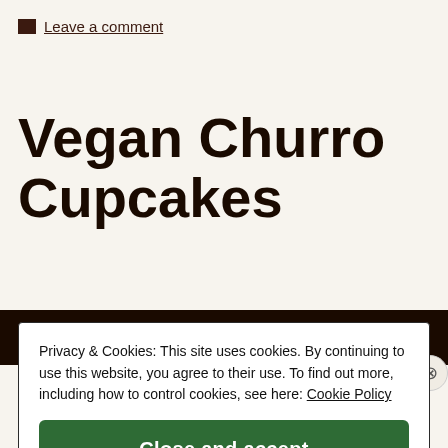Leave a comment
Vegan Churro Cupcakes
[Figure (photo): Dark background photo strip showing what appears to be churro cupcakes]
Privacy & Cookies: This site uses cookies. By continuing to use this website, you agree to their use. To find out more, including how to control cookies, see here: Cookie Policy
Close and accept